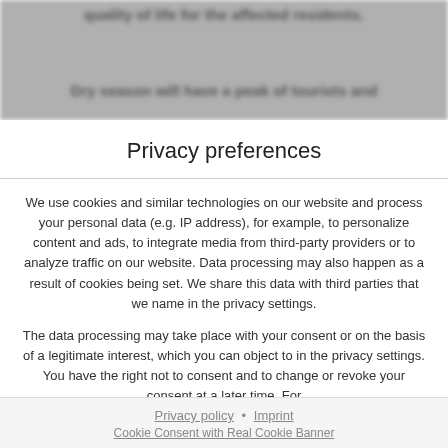Privacy preferences
We use cookies and similar technologies on our website and process your personal data (e.g. IP address), for example, to personalize content and ads, to integrate media from third-party providers or to analyze traffic on our website. Data processing may also happen as a result of cookies being set. We share this data with third parties that we name in the privacy settings.
The data processing may take place with your consent or on the basis of a legitimate interest, which you can object to in the privacy settings. You have the right not to consent and to change or revoke your consent at a later time. For
Accept all
Continue without consent
Set privacy settings individually
Privacy policy • Imprint Cookie Consent with Real Cookie Banner